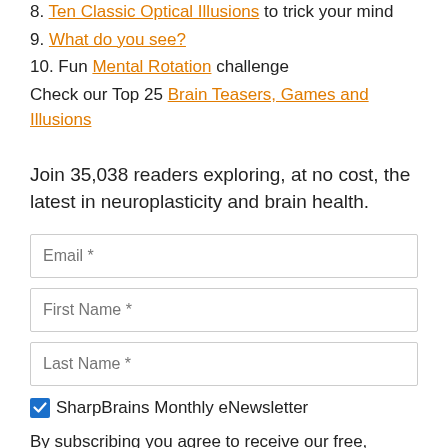8. Ten Classic Optical Illusions to trick your mind
9. What do you see?
10. Fun Mental Rotation challenge
Check our Top 25 Brain Teasers, Games and Illusions
Join 35,038 readers exploring, at no cost, the latest in neuroplasticity and brain health.
Email *
First Name *
Last Name *
SharpBrains Monthly eNewsletter
By subscribing you agree to receive our free, monthly eNewsletter. We don't rent or sell emails collected,